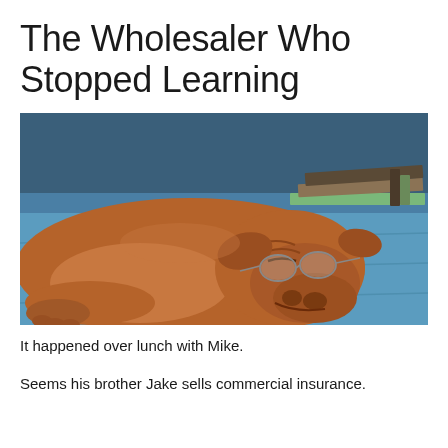The Wholesaler Who Stopped Learning
[Figure (photo): A large brown mastiff dog wearing reading glasses, lying asleep on a blue surface with its head resting on an open book, surrounded by stacked books in the background.]
It happened over lunch with Mike.
Seems his brother Jake sells commercial insurance.